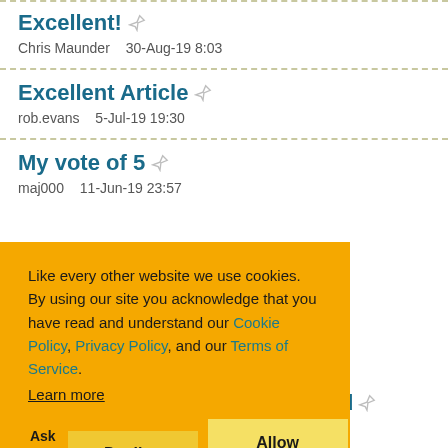Excellent!
Chris Maunder   30-Aug-19 8:03
Excellent Article
rob.evans   5-Jul-19 19:30
My vote of 5
maj000   11-Jun-19 23:57
Like every other website we use cookies. By using our site you acknowledge that you have read and understand our Cookie Policy, Privacy Policy, and our Terms of Service.
Learn more
Ask me later   Decline   Allow cookies